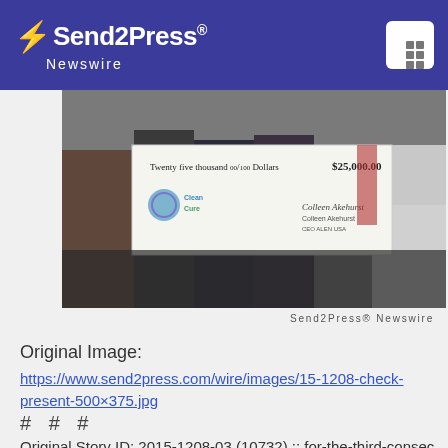Send2Press Newswire
[Figure (photo): People holding a large ceremonial check made out to Clean Cure for Twenty five thousand dollars ($25,000.00), signed by Colleen Akehurst, CEO ALEN USA]
Send2Press® Newswire
Original Image:
https://www.send2press.com/wire/images/15-1208-check-present-500×375.jpg
# # #
Original Story ID: 2015-1208-03 (10732) :: for-the-third-consecutive-year-ensueno-pinalon-pinol-and